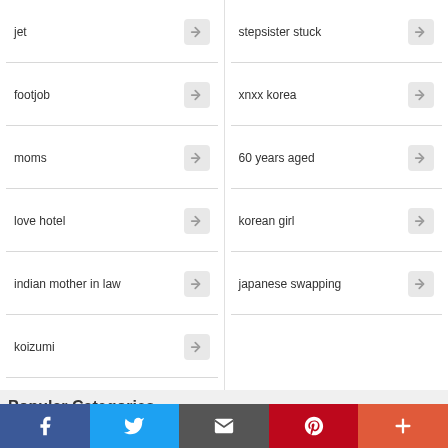jet
stepsister stuck
footjob
xnxx korea
moms
60 years aged
love hotel
korean girl
indian mother in law
japanese swapping
koizumi
Popular Categories
Facebook Twitter Email Pinterest More